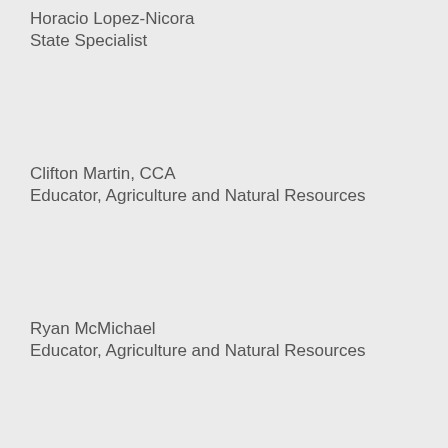Horacio Lopez-Nicora
State Specialist
Clifton Martin, CCA
Educator, Agriculture and Natural Resources
Ryan McMichael
Educator, Agriculture and Natural Resources